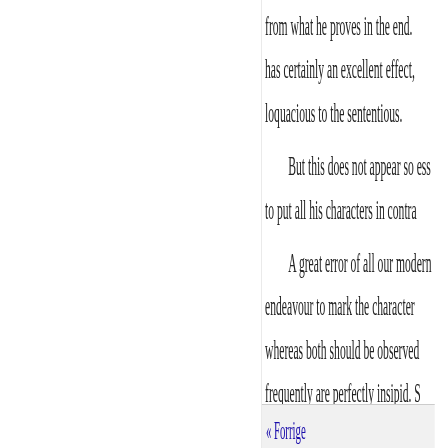from what he proves in the end. has certainly an excellent effect, loquacious to the sententious.
But this does not appear so ess to put all his characters in contra
A great error of all our modern endeavour to mark the character whereas both should be observed frequently are perfectly insipid. S characters have not only a peculi himself like Othello; nor Cassio and the Prince. In comedy there neglected, unless where the Irish
The language of tragedy must be representation of nature and of c des stroy the pleasing illusion, w
On the same principle I abhor to himself? When w
« Forrige